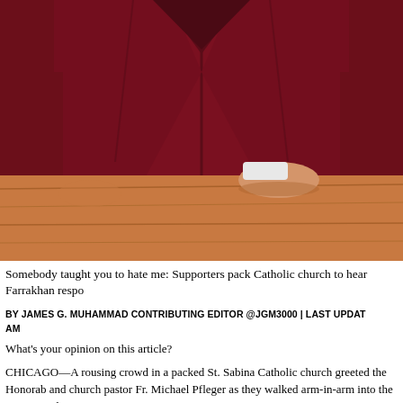[Figure (photo): Close-up photo of a person wearing a dark maroon/burgundy suit jacket, standing at what appears to be a wooden podium or lectern. Only the torso and hands are visible, with a white shirt cuff visible at the wrist.]
Somebody taught you to hate me: Supporters pack Catholic church to hear Farrakhan respo
BY JAMES G. MUHAMMAD CONTRIBUTING EDITOR @JGM3000 | LAST UPDATE AM
What's your opinion on this article?
CHICAGO—A rousing crowd in a packed St. Sabina Catholic church greeted the Honorab and church pastor Fr. Michael Pfleger as they walked arm-in-arm into the sanctuary during